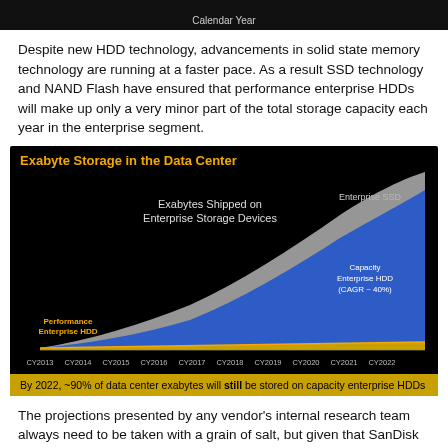[Figure (continuous-plot): Top strip of a chart showing Calendar Year axis label on dark background]
Despite new HDD technology, advancements in solid state memory technology are running at a faster pace. As a result SSD technology and NAND Flash have ensured that performance enterprise HDDs will make up only a very minor part of the total storage capacity each year in the enterprise segment.
[Figure (area-chart): Area chart on black background showing Exabytes Shipped on Enterprise Storage Devices from CY2013 to CY2022. Three areas: Performance Enterprise HDD (gold/flat), Capacity Enterprise HDD (blue, CAGR ~40%), and Enterprise SSD (gray/white, top area). X-axis: CY2013 through CY2022.]
By 2022, ~90% of data center exabytes will still be stored on capacity enterprise HDDs
The projections presented by any vendor's internal research team always need to be taken with a grain of salt, but given that SanDisk is now a part of Western Digital the above market share numbers